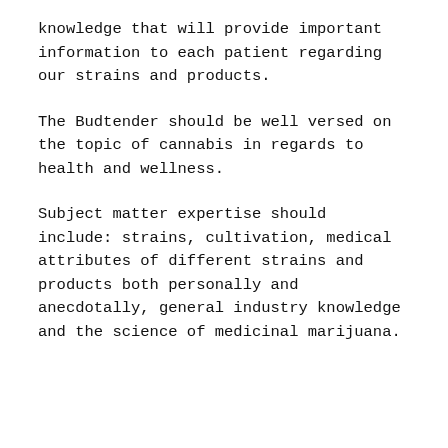knowledge that will provide important information to each patient regarding our strains and products.
The Budtender should be well versed on the topic of cannabis in regards to health and wellness.
Subject matter expertise should include: strains, cultivation, medical attributes of different strains and products both personally and anecdotally, general industry knowledge and the science of medicinal marijuana.